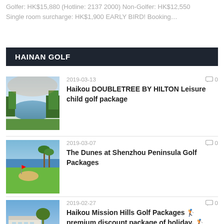Golfer: HK$15,880 (Hotline: 2137 2000) Non-Golfer: HK$12,550 Single room surcharge: HK$1,900 EARLY BIRD! Booking…
HAINAN GOLF
[Figure (photo): Aerial view of a golf course with water and trees]
2019-03-13  0
Haikou DOUBLETREE BY HILTON Leisure child golf package
[Figure (photo): Golf course with green fairway, sand bunker, and ocean in the background with palm trees]
2019-03-07  0
The Dunes at Shenzhou Peninsula Golf Packages
[Figure (photo): Mission Hills golf course with white hotel building and blue sky]
2019-02-27  0
Haikou Mission Hills Golf Packages 🏌premium discount package of holiday. 🏌